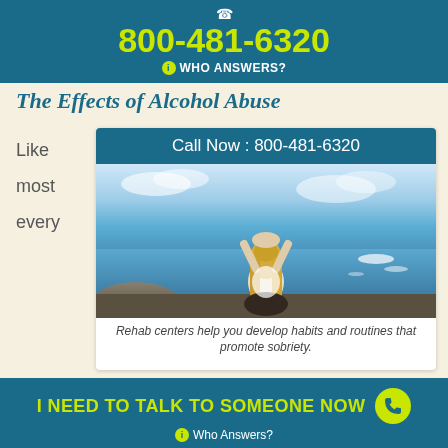800-481-6320 WHO ANSWERS?
The Effects of Alcohol Abuse
Like most every
Call Now : 800-481-6320
[Figure (photo): Woman with long blonde hair sitting on rocks by the ocean with arms raised overhead in a meditative pose]
Rehab centers help you develop habits and routines that promote sobriety.
I NEED TO TALK TO SOMEONE NOW  Who Answers?